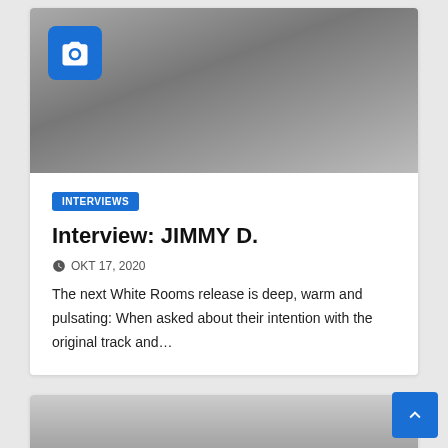[Figure (photo): Black and white photo of a man in a polo shirt outdoors with bushes in background. Blue camera icon badge overlay in top-left corner.]
INTERVIEWS
Interview: JIMMY D.
OKT 17, 2020
The next White Rooms release is deep, warm and pulsating: When asked about their intention with the original track and…
[Figure (photo): Partially visible black and white photo at bottom of page showing a person.]